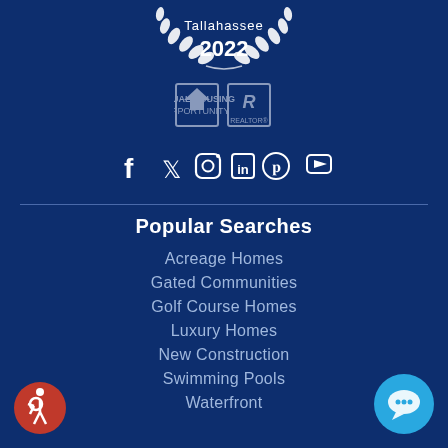[Figure (logo): Tallahassee 2022 award logo with laurel wreath in white on dark blue background]
[Figure (logo): Equal Housing Opportunity and REALTOR logos in grey/white]
[Figure (infographic): Social media icons: Facebook, Twitter, Instagram, LinkedIn, Pinterest, YouTube in white]
Popular Searches
Acreage Homes
Gated Communities
Golf Course Homes
Luxury Homes
New Construction
Swimming Pools
Waterfront